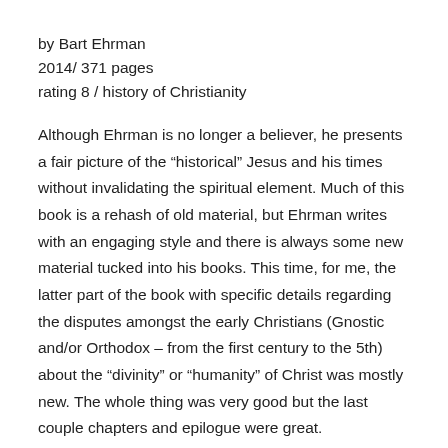by Bart Ehrman
2014/ 371 pages
rating 8 / history of Christianity
Although Ehrman is no longer a believer, he presents a fair picture of the “historical” Jesus and his times without invalidating the spiritual element. Much of this book is a rehash of old material, but Ehrman writes with an engaging style and there is always some new material tucked into his books. This time, for me, the latter part of the book with specific details regarding the disputes amongst the early Christians (Gnostic and/or Orthodox – from the first century to the 5th) about the “divinity” or “humanity” of Christ was mostly new. The whole thing was very good but the last couple chapters and epilogue were great.